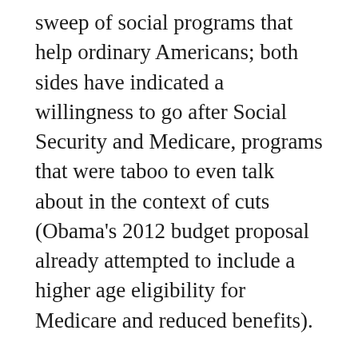sweep of social programs that help ordinary Americans; both sides have indicated a willingness to go after Social Security and Medicare, programs that were taboo to even talk about in the context of cuts (Obama's 2012 budget proposal already attempted to include a higher age eligibility for Medicare and reduced benefits).
So watch for February. It looks like, in order to solve the crisis of capitalist production, both the Republicans and Democrats are looking to throw working Americans to the wolves.
Photo: Tony Savino / Socialist Action